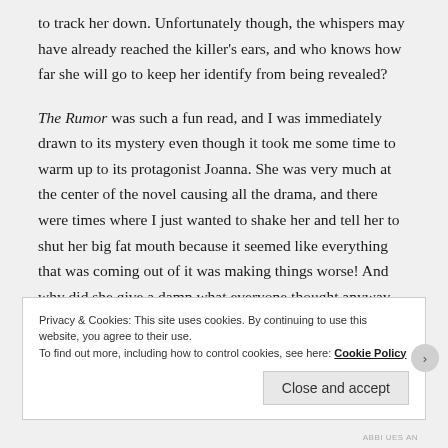to track her down. Unfortunately though, the whispers may have already reached the killer's ears, and who knows how far she will go to keep her identify from being revealed?
The Rumor was such a fun read, and I was immediately drawn to its mystery even though it took me some time to warm up to its protagonist Joanna. She was very much at the center of the novel causing all the drama, and there were times where I just wanted to shake her and tell her to shut her big fat mouth because it seemed like everything that was coming out of it was making things worse! And why did she give a damn what everyone thought anyway, just go live your life the way you want and to
Privacy & Cookies: This site uses cookies. By continuing to use this website, you agree to their use.
To find out more, including how to control cookies, see here: Cookie Policy
Close and accept